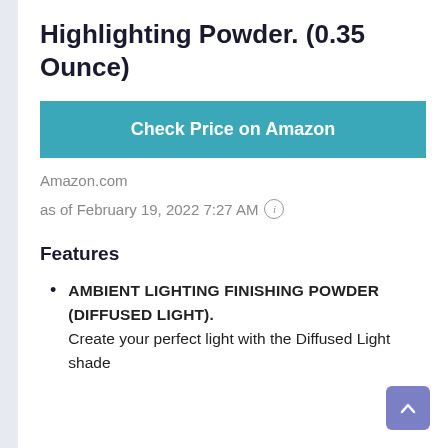Highlighting Powder. (0.35 Ounce)
[Figure (other): Check Price on Amazon button (teal/blue background, white bold text)]
Amazon.com
as of February 19, 2022 7:27 AM ⓘ
Features
AMBIENT LIGHTING FINISHING POWDER (DIFFUSED LIGHT). Create your perfect light with the Diffused Light shade